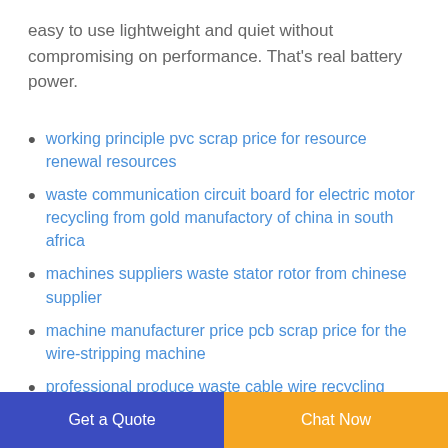easy to use lightweight and quiet without compromising on performance. That's real battery power.
working principle pvc scrap price for resource renewal resources
waste communication circuit board for electric motor recycling from gold manufactory of china in south africa
machines suppliers waste stator rotor from chinese supplier
machine manufacturer price pcb scrap price for the wire-stripping machine
professional produce waste cable wire recycling from
Get a Quote | Chat Now